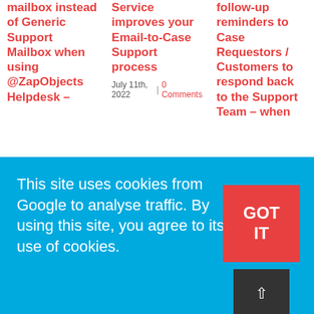mailbox instead of Generic Support Mailbox when using @ZapObjects Helpdesk –
Service improves your Email-to-Case Support process
July 11th, 2022 | 0 Comments
follow-up reminders to Case Requestors / Customers to respond back to the Support Team – when
This site uses cookies from Google to analyse traffic. By using this site, you agree to its use of cookies.